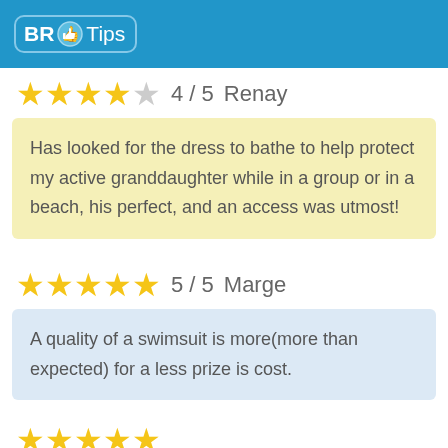BR Tips
★★★★☆  4 / 5  Renay
Has looked for the dress to bathe to help protect my active granddaughter while in a group or in a beach, his perfect, and an access was utmost!
★★★★★  5 / 5  Marge
A quality of a swimsuit is more(more than expected) for a less prize is cost.
★★★★★ (partial row at bottom)